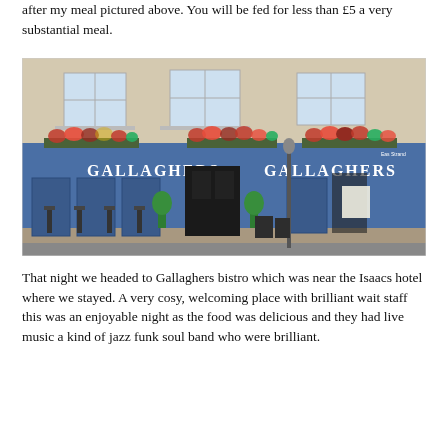after my meal pictured above. You will be fed for less than £5 a very substantial meal.
[Figure (photo): Exterior photo of Gallaghers bistro/pub, a blue-painted building with flower boxes and signage reading GALLAGHERS, outdoor seating visible on the pavement.]
That night we headed to Gallaghers bistro which was near the Isaacs hotel where we stayed. A very cosy, welcoming place with brilliant wait staff this was an enjoyable night as the food was delicious and they had live music a kind of jazz funk soul band who were brilliant.